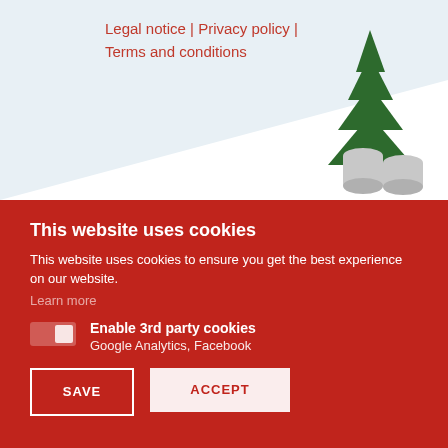[Figure (illustration): Website header area with light blue-grey background, diagonal white section at bottom, a dark green Christmas tree SVG illustration in the upper right, and decorative cylindrical shapes at the bottom right. Navigation links 'Legal notice | Privacy policy | Terms and conditions' in red on the left side.]
Legal notice | Privacy policy | Terms and conditions
This website uses cookies
This website uses cookies to ensure you get the best experience on our website.
Learn more
Enable 3rd party cookies
Google Analytics, Facebook
SAVE
ACCEPT